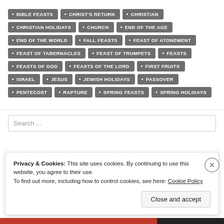BIBLE FEASTS
CHRIST'S RETURN
CHRISTIAN
CHRISTIAN HOLIDAYS
CHURCH
END OF THE AGE
END OF THE WORLD
FALL FEASTS
FEAST OF ATONEMENT
FEAST OF TABERNACLES
FEAST OF TRUMPETS
FEASTS
FEASTS OF GOD
FEASTS OF THE LORD
FIRST FRUITS
ISRAEL
JESUS
JEWISH HOLIDAYS
PASSOVER
PENTECOST
RAPTURE
SPRING FEASTS
SPRING HOLIDAYS
Search ...
Privacy & Cookies: This site uses cookies. By continuing to use this website, you agree to their use. To find out more, including how to control cookies, see here: Cookie Policy
Close and accept